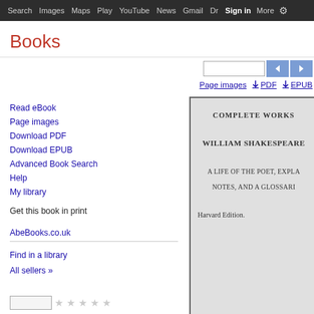Search  Images  Maps  Play  YouTube  News  Gmail  Dr  Sign in  More  ⚙
Books
Read eBook
Page images
Download PDF
Download EPUB
Advanced Book Search
Help
My library
Get this book in print
AbeBooks.co.uk
Find in a library
All sellers »
[Figure (screenshot): Google Books page showing Complete Works of William Shakespeare navigation controls, PDF and EPUB download links, and a book page preview showing 'COMPLETE WORKS', 'WILLIAM SHAKESPEARE', 'A LIFE OF THE POET, EXPL...', 'NOTES, AND A GLOSSARI...', 'Harvard Edition.']